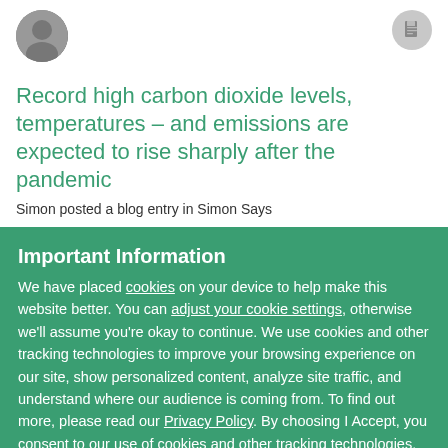[Figure (photo): Circular avatar photo of a person]
[Figure (other): Document icon in a grey circle]
Record high carbon dioxide levels, temperatures – and emissions are expected to rise sharply after the pandemic
Simon posted a blog entry in Simon Says
Important Information
We have placed cookies on your device to help make this website better. You can adjust your cookie settings, otherwise we'll assume you're okay to continue. We use cookies and other tracking technologies to improve your browsing experience on our site, show personalized content, analyze site traffic, and understand where our audience is coming from. To find out more, please read our Privacy Policy. By choosing I Accept, you consent to our use of cookies and other tracking technologies.
✓  I accept